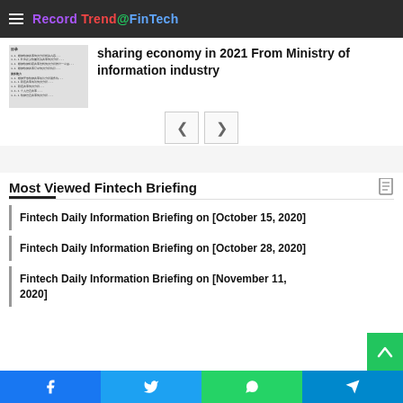Record Trend @ FinTech
[Figure (screenshot): Thumbnail showing a document/table of contents page with Chinese text]
sharing economy in 2021 From Ministry of information industry
Most Viewed Fintech Briefing
Fintech Daily Information Briefing on [October 15, 2020]
Fintech Daily Information Briefing on [October 28, 2020]
Fintech Daily Information Briefing on [November 11, 2020]